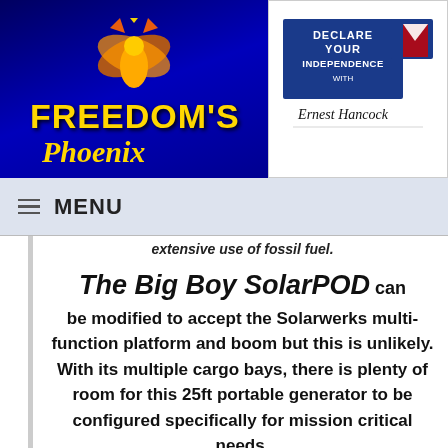[Figure (logo): Freedom's Phoenix logo with phoenix bird on blue background]
[Figure (logo): Declare Your Independence with Ernest Hancock logo]
MENU
extensive use of fossil fuel.
The Big Boy SolarPOD can be modified to accept the Solarwerks multi-function platform and boom but this is unlikely. With its multiple cargo bays, there is plenty of room for this 25ft portable generator to be configured specifically for mission critical needs.